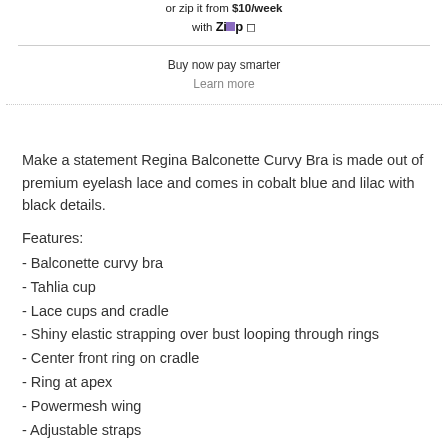or zip it from $10/week with Zip
Buy now pay smarter
Learn more
Make a statement Regina Balconette Curvy Bra is made out of premium eyelash lace and comes in cobalt blue and lilac with black details.
Features:
- Balconette curvy bra
- Tahlia cup
- Lace cups and cradle
- Shiny elastic strapping over bust looping through rings
- Center front ring on cradle
- Ring at apex
- Powermesh wing
- Adjustable straps